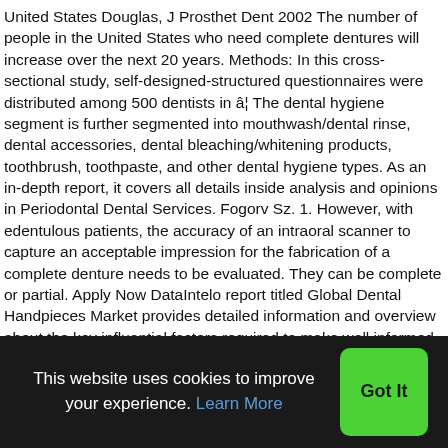United States Douglas, J Prosthet Dent 2002 The number of people in the United States who need complete dentures will increase over the next 20 years. Methods: In this cross-sectional study, self-designed-structured questionnaires were distributed among 500 dentists in â¦ The dental hygiene segment is further segmented into mouthwash/dental rinse, dental accessories, dental bleaching/whitening products, toothbrush, toothpaste, and other dental hygiene types. As an in-depth report, it covers all details inside analysis and opinions in Periodontal Dental Services. Fogorv Sz. 1. However, with edentulous patients, the accuracy of an intraoral scanner to capture an acceptable impression for the fabrication of a complete denture needs to be evaluated. They can be complete or partial. Apply Now DataIntelo report titled Global Dental Handpieces Market provides detailed information and overview about the key influential factors required to make well informed business decision. The
This website uses cookies to improve your experience. Learn More